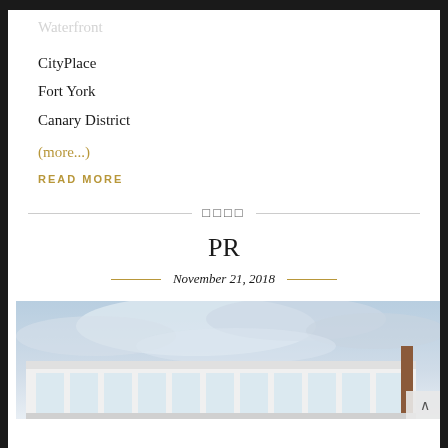CityPlace
Fort York
Canary District
(more...)
READ MORE
PR
November 21, 2018
[Figure (photo): Architectural rendering of a modern building with large windows under a cloudy sky]